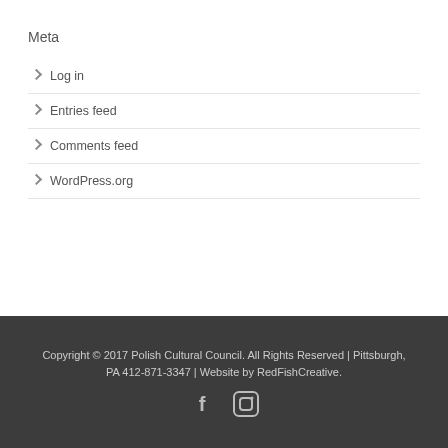Meta
Log in
Entries feed
Comments feed
WordPress.org
Copyright © 2017 Polish Cultural Council. All Rights Reserved | Pittsburgh, PA 412-871-3347 | Website by RedFishCreative.